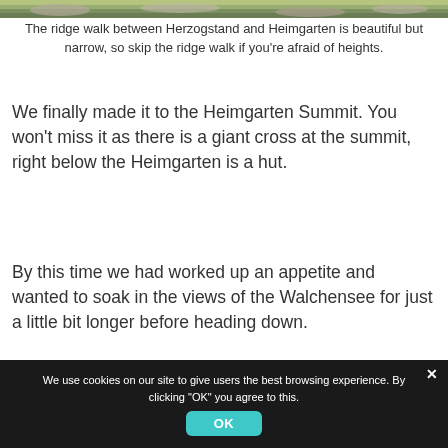[Figure (photo): Partial view of a rocky mountain ridge path, showing rocks and sparse vegetation — top strip of a landscape photo.]
The ridge walk between Herzogstand and Heimgarten is beautiful but narrow, so skip the ridge walk if you're afraid of heights.
We finally made it to the Heimgarten Summit. You won't miss it as there is a giant cross at the summit, right below the Heimgarten is a hut.
By this time we had worked up an appetite and wanted to soak in the views of the Walchensee for just a little bit longer before heading down.
[Figure (photo): Blue background strip — partial view of a second photo/banner, mostly blue sky or blue-toned image.]
We use cookies on our site to give users the best browsing experience. By clicking "OK" you agree to this.